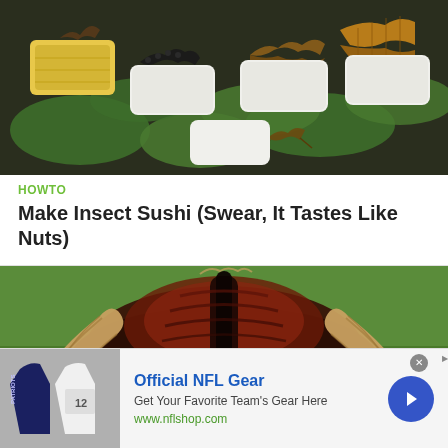[Figure (photo): Insect sushi: various insects (caterpillars, beetles, crickets) placed on top of rice nigiri sushi pieces arranged on a dark platter with green leaves]
HOWTO
Make Insect Sushi (Swear, It Tastes Like Nuts)
[Figure (photo): Close-up of a longhorn bull or cattle from behind, showing large horns and dark reddish-brown fur on a grassy background]
[Figure (infographic): Advertisement banner for Official NFL Gear with NFL jersey image, text 'Official NFL Gear', 'Get Your Favorite Team's Gear Here', 'www.nflshop.com', and a blue arrow button]